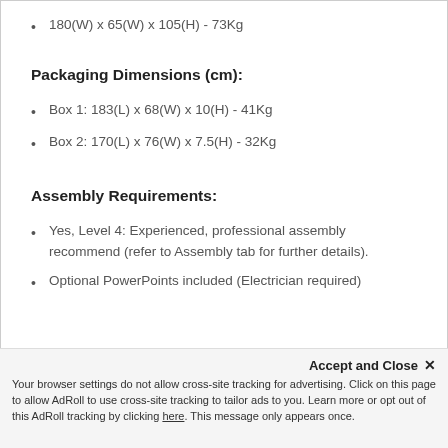180(W) x 65(W) x 105(H) - 73Kg
Packaging Dimensions (cm):
Box 1: 183(L) x 68(W) x 10(H) - 41Kg
Box 2: 170(L) x 76(W) x 7.5(H) - 32Kg
Assembly Requirements:
Yes, Level 4: Experienced, professional assembly recommend (refer to Assembly tab for further details).
Optional PowerPoints included (Electrician required)
Accept and Close ✕
Your browser settings do not allow cross-site tracking for advertising. Click on this page to allow AdRoll to use cross-site tracking to tailor ads to you. Learn more or opt out of this AdRoll tracking by clicking here. This message only appears once.